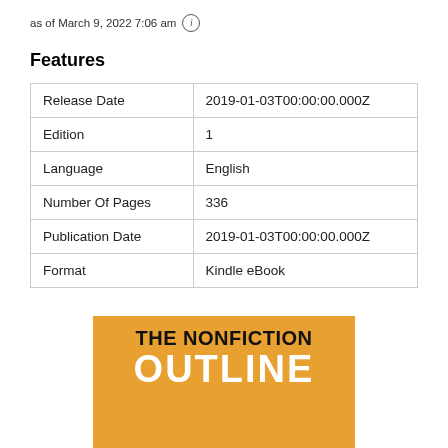as of March 9, 2022 7:06 am ⓘ
Features
| Release Date | 2019-01-03T00:00:00.000Z |
| Edition | 1 |
| Language | English |
| Number Of Pages | 336 |
| Publication Date | 2019-01-03T00:00:00.000Z |
| Format | Kindle eBook |
[Figure (illustration): Book cover with orange background showing 'THE NONFICTION OUTLINE' in bold text]